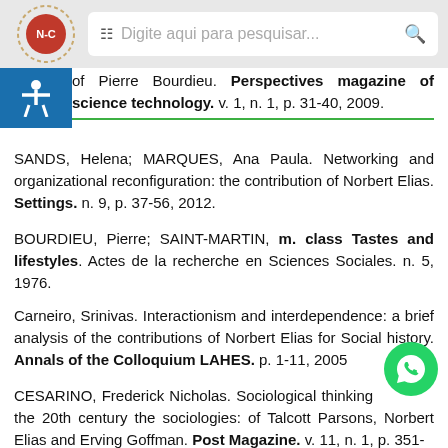Digite aqui para pesquisar...
of Pierre Bourdieu. Perspectives magazine of science technology. v. 1, n. 1, p. 31-40, 2009.
SANDS, Helena; MARQUES, Ana Paula. Networking and organizational reconfiguration: the contribution of Norbert Elias. Settings. n. 9, p. 37-56, 2012.
BOURDIEU, Pierre; SAINT-MARTIN, m. class Tastes and lifestyles. Actes de la recherche en Sciences Sociales. n. 5, 1976.
Carneiro, Srinivas. Interactionism and interdependence: a brief analysis of the contributions of Norbert Elias for Social history. Annals of the Colloquium LAHES. p. 1-11, 2005.
CESARINO, Frederick Nicholas. Sociological thinking the 20th century the sociologies: of Talcott Parsons, Norbert Elias and Erving Goffman. Post Magazine. v. 11, n. 1, p. 351-